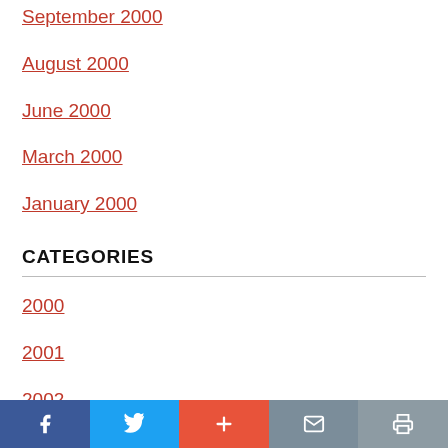September 2000
August 2000
June 2000
March 2000
January 2000
CATEGORIES
2000
2001
2002